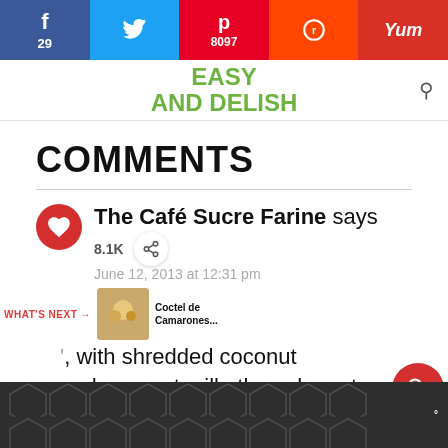Social share bar: Facebook 29, Twitter, Pinterest 8097, Reddit, Yummly
[Figure (logo): Easy and Delish website logo in green text]
COMMENTS
The Café Sucre Farine says
8.1K
June 12, 2013 at 12:31 pm
, with shredded coconut and coconut milk, these have to
WHAT'S NEXT → Coctel de Camarones...